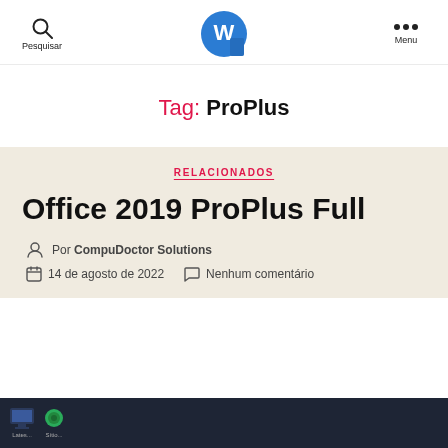Pesquisar | [Word logo] | Menu
Tag: ProPlus
RELACIONADOS
Office 2019 ProPlus Full
Por CompuDoctor Solutions
14 de agosto de 2022   Nenhum comentário
[Figure (screenshot): Dark blue preview strip at the bottom of the page showing desktop icons on a dark background.]